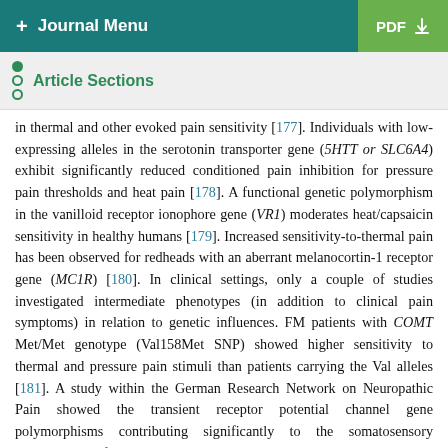+ Journal Menu   PDF ↓
Article Sections
in thermal and other evoked pain sensitivity [177]. Individuals with low-expressing alleles in the serotonin transporter gene (5HTT or SLC6A4) exhibit significantly reduced conditioned pain inhibition for pressure pain thresholds and heat pain [178]. A functional genetic polymorphism in the vanilloid receptor ionophore gene (VR1) moderates heat/capsaicin sensitivity in healthy humans [179]. Increased sensitivity-to-thermal pain has been observed for redheads with an aberrant melanocortin-1 receptor gene (MC1R) [180]. In clinical settings, only a couple of studies investigated intermediate phenotypes (in addition to clinical pain symptoms) in relation to genetic influences. FM patients with COMT Met/Met genotype (Val158Met SNP) showed higher sensitivity to thermal and pressure pain stimuli than patients carrying the Val alleles [181]. A study within the German Research Network on Neuropathic Pain showed the transient receptor potential channel gene polymorphisms contributing significantly to the somatosensory abnormalities of